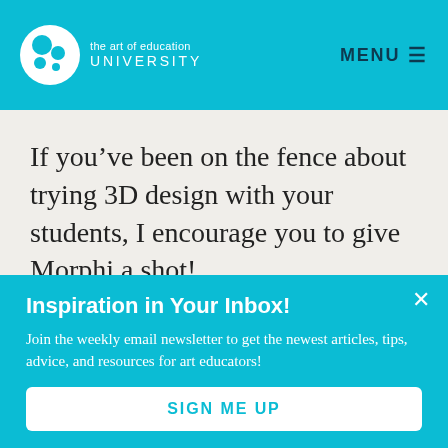the art of education UNIVERSITY  MENU
If you’ve been on the fence about trying 3D design with your students, I encourage you to give Morphi a shot!
3D Rendering in the Classroom
Inspiration in Your Inbox!
Join the weekly email newsletter to get the newest articles, tips, advice, and resources for art educators!
SIGN ME UP